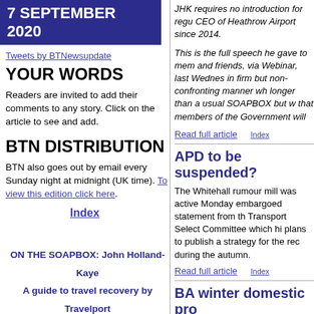7 SEPTEMBER 2020
Tweets by BTNewsupdate
YOUR WORDS
Readers are invited to add their comments to any story. Click on the article to see and add.
BTN DISTRIBUTION
BTN also goes out by email every Sunday night at midnight (UK time). To view this edition click here.
Index
ON THE SOAPBOX: John Holland-Kaye
A guide to travel recovery by Travelport
APD to be suspended?
JHK requires no introduction for regu CEO of Heathrow Airport since 2014.
This is the full speech he gave to mem and friends, via Webinar, last Wednes in firm but non-confronting manner wh longer than a usual SOAPBOX but w that members of the Government will
Read full article   Index
APD to be suspended?
The Whitehall rumour mill was active Monday embargoed statement from th Transport Select Committee which hi plans to publish a strategy for the rec during the autumn.
Read full article   Index
BA winter domestic pro
British Airways cuts back on frequenc
Read full article   Index
Blue Islands expands fl